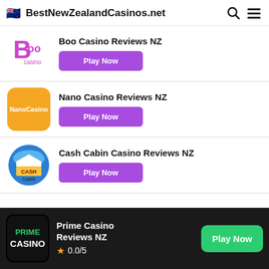BestNewZealandCasinos.net
Boo Casino Reviews NZ
Nano Casino Reviews NZ
Cash Cabin Casino Reviews NZ
Prime Casino Reviews NZ
0.0/5